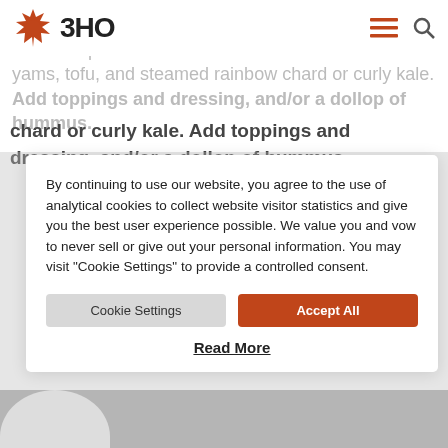3HO
Taste and adjust seasonings.
2. Place quinoa and lentils in bowl and then do roasted yams, tofu, and steamed rainbow chard or curly kale. Add toppings and dressing, and/or a dollop of hummus.
By continuing to use our website, you agree to the use of analytical cookies to collect website visitor statistics and give you the best user experience possible. We value you and vow to never sell or give out your personal information. You may visit "Cookie Settings" to provide a controlled consent.
Cookie Settings
Accept All
Read More